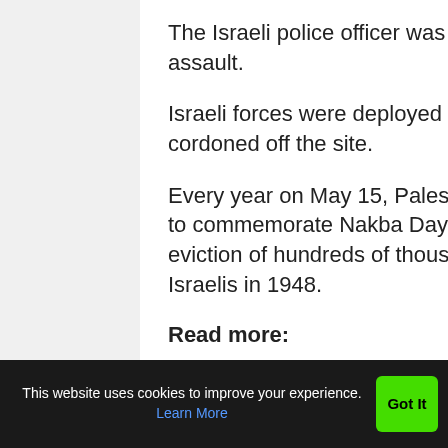The Israeli police officer was said to be slightly wounded in the purported assault.
Israeli forces were deployed heavily in the area after the incident, and they cordoned off the site.
Every year on May 15, Palestinians all over the world hold demonstrations to commemorate Nakba Day, which marks the anniversary of the forcible eviction of hundreds of thousands of Palestinians from their homeland by Israelis in 1948.
Read more:
This website uses cookies to improve your experience. Learn More